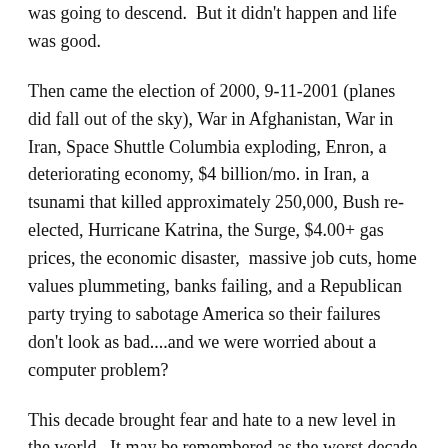was going to descend.  But it didn't happen and life was good.
Then came the election of 2000, 9-11-2001 (planes did fall out of the sky), War in Afghanistan, War in Iran, Space Shuttle Columbia exploding, Enron, a deteriorating economy, $4 billion/mo. in Iran, a tsunami that killed approximately 250,000, Bush re-elected, Hurricane Katrina, the Surge, $4.00+ gas prices, the economic disaster,  massive job cuts, home values plummeting, banks failing, and a Republican party trying to sabotage America so their failures don't look as bad....and we were worried about a computer problem?
This decade brought fear and hate to a new level in the world.  It may be remembered as the worst decade since the 1960's for unhappy people and negative world events and yet we all survived,